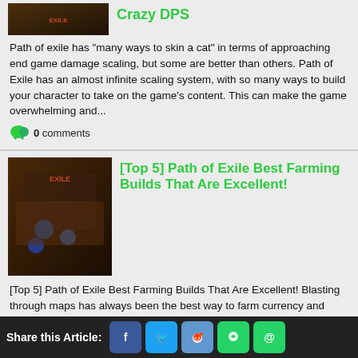[Figure (screenshot): Game thumbnail for Path of Exile Crazy DPS article]
Crazy DPS
Path of exile has "many ways to skin a cat" in terms of approaching end game damage scaling, but some are better than others. Path of Exile has an almost infinite scaling system, with so many ways to build your character to take on the game's content. This can make the game overwhelming and...
0 comments
[Figure (screenshot): Game thumbnail for Path of Exile Best Farming Builds article]
[Top 5] Path of Exile Best Farming Builds That Are Excellent!
[Top 5] Path of Exile Best Farming Builds That Are Excellent! Blasting through maps has always been the best way to farm currency and items in PoE and these builds are one of the best to clear map after map and generate tons of currency! 5 – Devon's Blooming Flicker Raider Flicker...
0 comments
[Figure (screenshot): Game thumbnail for Top 10 Path of Exile article]
[Top 10] Path of Exile
Share this Article: